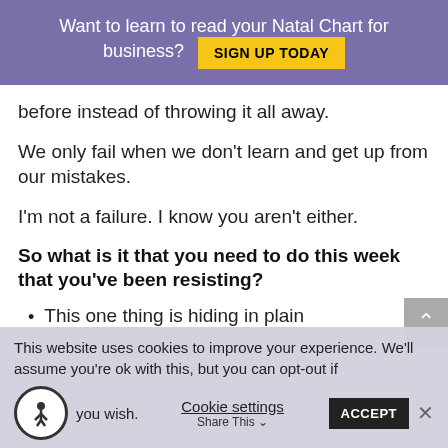Want to learn to read your Natal Chart for business? SIGN UP TODAY
before instead of throwing it all away.
We only fail when we don't learn and get up from our mistakes.
I'm not a failure. I know you aren't either.
So what is it that you need to do this week that you've been resisting?
This one thing is hiding in plain
This website uses cookies to improve your experience. We'll assume you're ok with this, but you can opt-out if you wish.
Cookie settings   ACCEPT